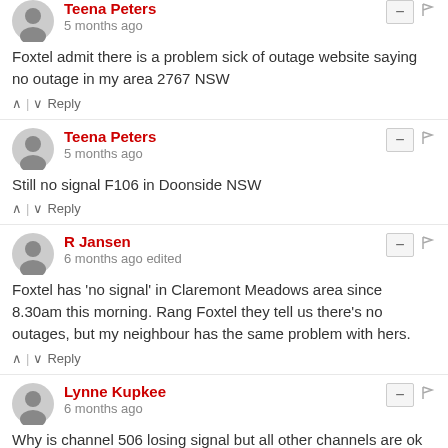Teena Peters · 5 months ago · Foxtel admit there is a problem sick of outage website saying no outage in my area 2767 NSW
Teena Peters · 5 months ago · Still no signal F106 in Doonside NSW
R Jansen · 6 months ago edited · Foxtel has 'no signal' in Claremont Meadows area since 8.30am this morning. Rang Foxtel they tell us there's no outages, but my neighbour has the same problem with hers.
Lynne Kupkee · 6 months ago · Why is channel 506 losing signal but all other channels are ok